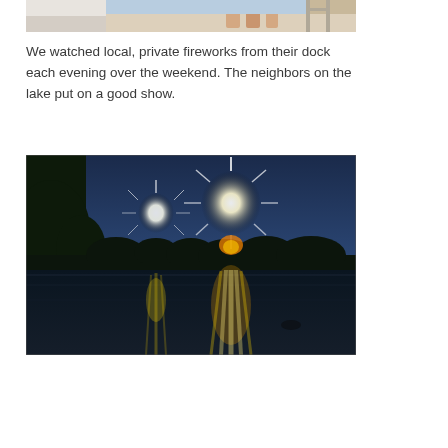[Figure (photo): Partial photo at top of page showing people on a dock or boat, cropped to show only the bottom portion.]
We watched local, private fireworks from their dock each evening over the weekend.  The neighbors on the lake put on a good show.
[Figure (photo): Night photo of fireworks exploding over a lake, with bright white bursts reflected in the calm dark water. Tree silhouettes visible on the horizon against a deep blue twilight sky.]